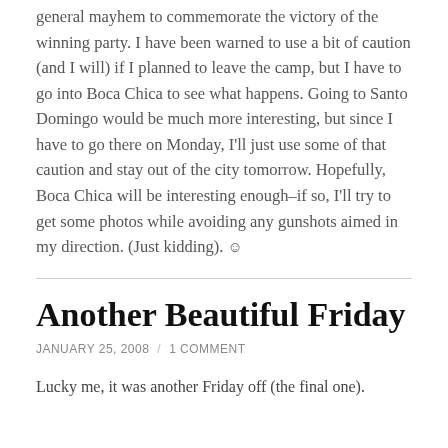general mayhem to commemorate the victory of the winning party. I have been warned to use a bit of caution (and I will) if I planned to leave the camp, but I have to go into Boca Chica to see what happens. Going to Santo Domingo would be much more interesting, but since I have to go there on Monday, I'll just use some of that caution and stay out of the city tomorrow. Hopefully, Boca Chica will be interesting enough–if so, I'll try to get some photos while avoiding any gunshots aimed in my direction. (Just kidding). ☺
Another Beautiful Friday
JANUARY 25, 2008 / 1 COMMENT
Lucky me, it was another Friday off (the final one).